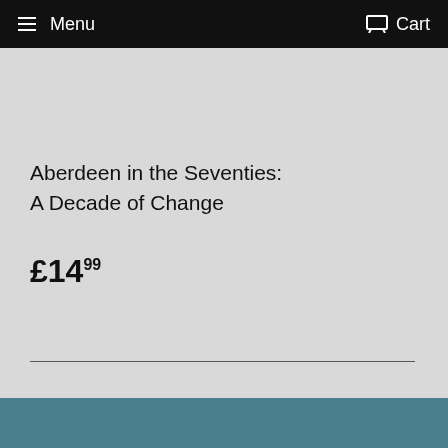Menu   Cart
Aberdeen in the Seventies:
A Decade of Change
£14.99